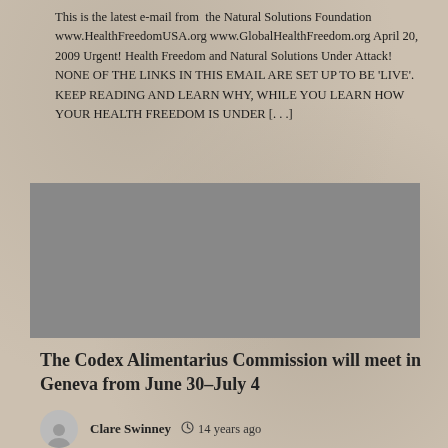This is the latest e-mail from  the Natural Solutions Foundation www.HealthFreedomUSA.org www.GlobalHealthFreedom.org April 20, 2009 Urgent! Health Freedom and Natural Solutions Under Attack! NONE OF THE LINKS IN THIS EMAIL ARE SET UP TO BE 'LIVE'.  KEEP READING AND LEARN WHY, WHILE YOU LEARN HOW YOUR HEALTH FREEDOM IS UNDER [. . .]
[Figure (photo): Gray placeholder image block]
The Codex Alimentarius Commission will meet in Geneva from June 30–July 4
Clare Swinney  14 years ago